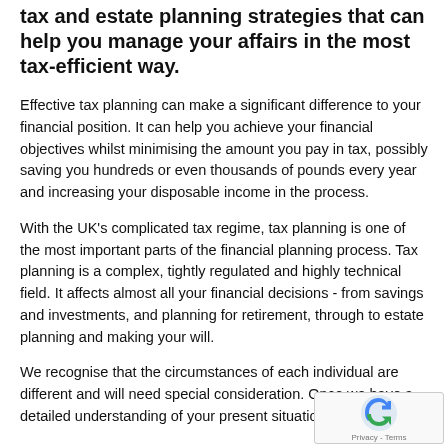tax and estate planning strategies that can help you manage your affairs in the most tax-efficient way.
Effective tax planning can make a significant difference to your financial position. It can help you achieve your financial objectives whilst minimising the amount you pay in tax, possibly saving you hundreds or even thousands of pounds every year and increasing your disposable income in the process.
With the UK's complicated tax regime, tax planning is one of the most important parts of the financial planning process. Tax planning is a complex, tightly regulated and highly technical field. It affects almost all your financial decisions - from savings and investments, and planning for retirement, through to estate planning and making your will.
We recognise that the circumstances of each individual are different and will need special consideration. Once we have a detailed understanding of your present situation and